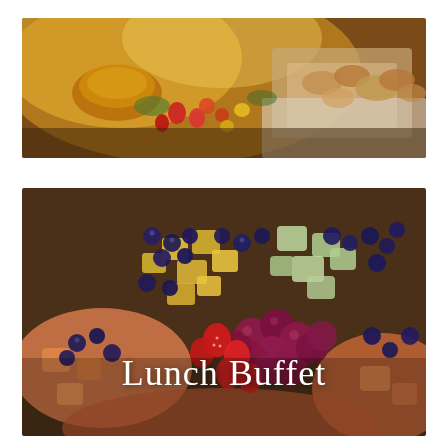[Figure (photo): A warm-toned buffet table photo showing golden food items, fruits including strawberries and tomatoes, bowls and baskets of pastries and baked goods on a table with a white cloth]
[Figure (photo): Close-up photo of a colorful fruit platter with blueberries, strawberries, grapes, pineapple chunks, honeydew melon cubes, cantaloupe, and other assorted fruits. Overlaid text reads 'Lunch Buffet']